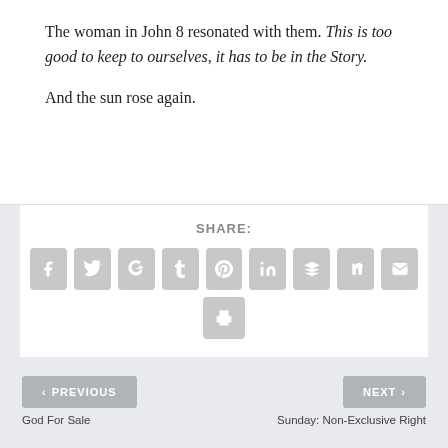The woman in John 8 resonated with them. This is too good to keep to ourselves, it has to be in the Story.
And the sun rose again.
[Figure (other): Social share buttons: Facebook, Twitter, Google+, Tumblr, Pinterest, LinkedIn, Buffer, StumbleUpon, Email, Print]
< PREVIOUS | NEXT >
God For Sale
Sunday: Non-Exclusive Right